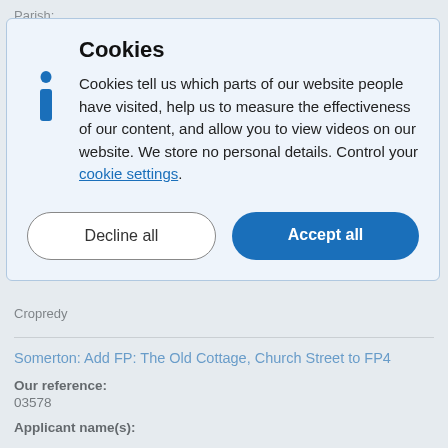Parish:
[Figure (screenshot): Cookie consent overlay dialog with title 'Cookies', info icon, descriptive text about cookie usage, a hyperlink to 'cookie settings', and two buttons: 'Decline all' and 'Accept all']
Cropredy
Somerton: Add FP: The Old Cottage, Church Street to FP4
Our reference:
03578
Applicant name(s):